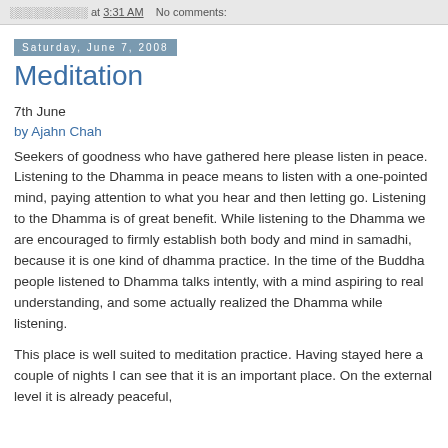░░░░░░░░░░ at 3:31 AM   No comments:
Saturday, June 7, 2008
Meditation
7th June
by Ajahn Chah
Seekers of goodness who have gathered here please listen in peace. Listening to the Dhamma in peace means to listen with a one-pointed mind, paying attention to what you hear and then letting go. Listening to the Dhamma is of great benefit. While listening to the Dhamma we are encouraged to firmly establish both body and mind in samadhi, because it is one kind of dhamma practice. In the time of the Buddha people listened to Dhamma talks intently, with a mind aspiring to real understanding, and some actually realized the Dhamma while listening.
This place is well suited to meditation practice. Having stayed here a couple of nights I can see that it is an important place. On the external level it is already peaceful,